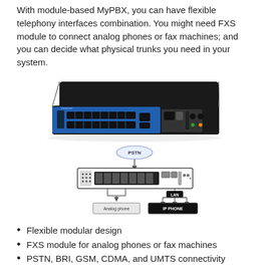With module-based MyPBX, you can have flexible telephony interfaces combination. You might need FXS module to connect analog phones or fax machines; and you can decide what physical trunks you need in your system.
[Figure (photo): Photo of a Yeastar network device/PBX appliance — a rack-mountable unit with a black top and blue front panel featuring multiple Ethernet ports.]
[Figure (schematic): Network diagram showing PSTN connected to a PBX device, which connects via arrows to 'Analog phone' devices and via LAN to 'IP PHONE' devices.]
Flexible modular design
FXS module for analog phones or fax machines
PSTN, BRI, GSM, CDMA, and UMTS connectivity
Easy Management: